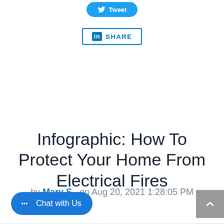[Figure (other): Twitter Tweet button (blue rounded button with bird icon and 'Tweet' text)]
[Figure (other): LinkedIn Share button (white button with blue LinkedIn 'in' icon and 'SHARE' text)]
Infographic: How To Protect Your Home From Electrical Fires
by Mary S., on Aug 20, 2021 1:28:05 PM
[Figure (other): Chat with Us button (blue rounded button with chat bubble icon)]
[Figure (other): Scroll to top button (grey square with up arrow)]